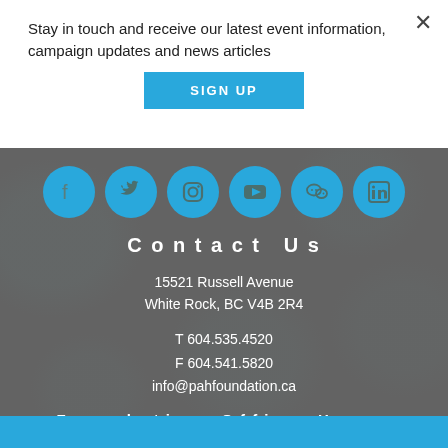Stay in touch and receive our latest event information, campaign updates and news articles
SIGN UP
[Figure (illustration): Row of six social media icons (Facebook, Twitter, Instagram, YouTube, WeChat, LinkedIn) as white icons on blue circular backgrounds]
Contact Us
15521 Russell Avenue
White Rock, BC V4B 2R4
T 604.535.4520
F 604.541.5820
info@pahfoundation.ca
Foundation Office Hours
Monday - Friday: 8:00 am - 5:00 pm